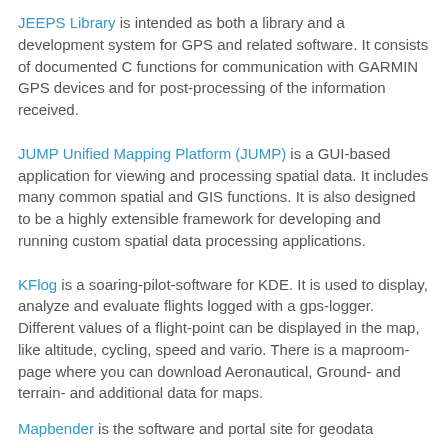JEEPS Library is intended as both a library and a development system for GPS and related software. It consists of documented C functions for communication with GARMIN GPS devices and for post-processing of the information received.
JUMP Unified Mapping Platform (JUMP) is a GUI-based application for viewing and processing spatial data. It includes many common spatial and GIS functions. It is also designed to be a highly extensible framework for developing and running custom spatial data processing applications.
KFlog is a soaring-pilot-software for KDE. It is used to display, analyze and evaluate flights logged with a gps-logger. Different values of a flight-point can be displayed in the map, like altitude, cycling, speed and vario. There is a maproom-page where you can download Aeronautical, Ground- and terrain- and additional data for maps.
Mapbender is the software and portal site for geodata...